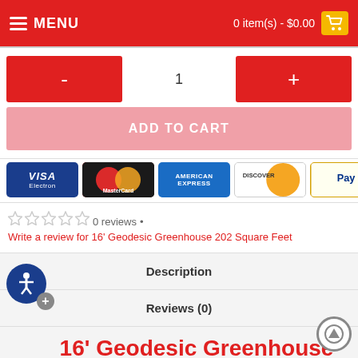MENU  |  0 item(s) - $0.00
- 1 +
ADD TO CART
[Figure (infographic): Payment method icons: Visa Electron, MasterCard, American Express, Discover, PayPal, Wire Transfer, and one partially visible]
0 reviews • Write a review for 16' Geodesic Greenhouse 202 Square Feet
Description
Reviews (0)
16' Geodesic Greenhouse 202 Square Feet